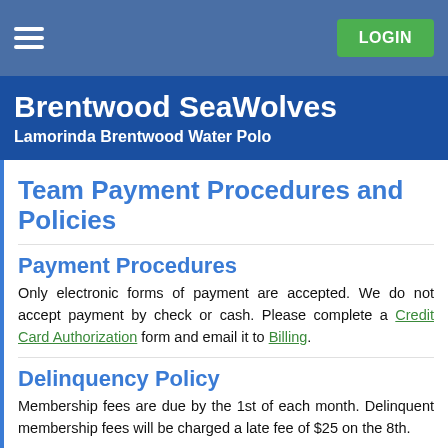Brentwood SeaWolves — Lamorinda Brentwood Water Polo
Team Payment Procedures and Policies
Payment Procedures
Only electronic forms of payment are accepted. We do not accept payment by check or cash. Please complete a Credit Card Authorization form and email it to Billing.
Delinquency Policy
Membership fees are due by the 1st of each month. Delinquent membership fees will be charged a late fee of $25 on the 8th.